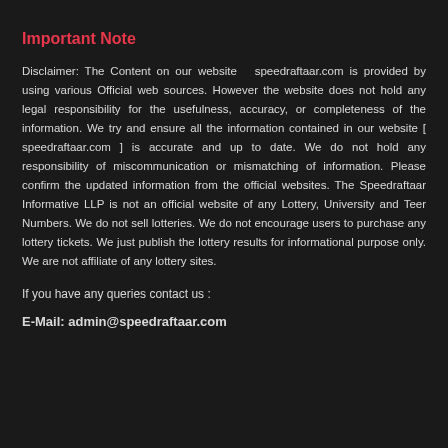Important Note
Disclaimer: The Content on our website  speedraftaar.com is provided by using various Official web sources. However the website does not hold any legal responsibility for the usefulness, accuracy, or completeness of the information. We try and ensure all the information contained in our website [ speedraftaar.com ] is accurate and up to date. We do not hold any responsibility of miscommunication or mismatching of information. Please confirm the updated information from the official websites. The Speedraftaar Informative LLP is not an official website of any Lottery, University and Teer Numbers. We do not sell lotteries. We do not encourage users to purchase any lottery tickets. We just publish the lottery results for informational purpose only. We are not affiliate of any lottery sites.
If you have any queries contact us :
E-Mail: admin@speedraftaar.com